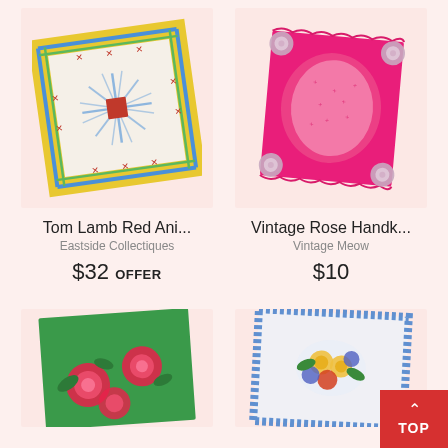[Figure (photo): Vintage handkerchief with colorful stripe border pattern and red animal/bow figures on white background]
Tom Lamb Red Ani...
Eastside Collectiques
$32 OFFER
[Figure (photo): Pink vintage rose handkerchief with scalloped edges and floral corner decorations]
Vintage Rose Handk...
Vintage Meow
$10
[Figure (photo): Green handkerchief with pink rose floral print]
[Figure (photo): White handkerchief with blue border and colorful floral bouquet center]